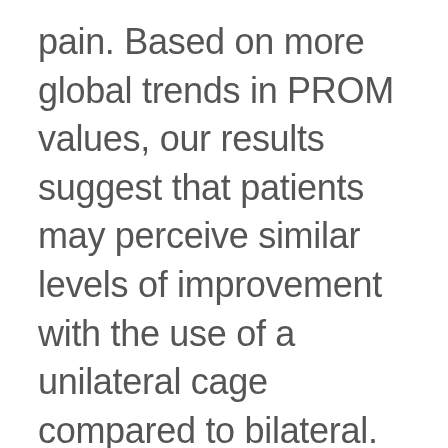pain. Based on more global trends in PROM values, our results suggest that patients may perceive similar levels of improvement with the use of a unilateral cage compared to bilateral. However, we did observe one significant difference between groups that was